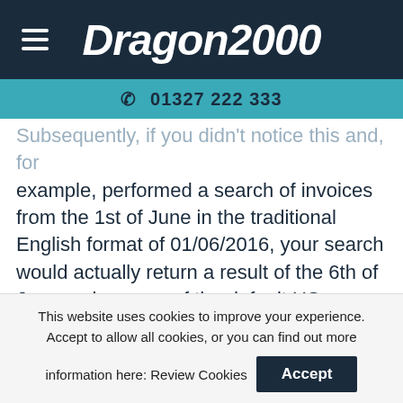Dragon2000 | 01327 222 333
Subsequently, if you didn't notice this and, for example, performed a search of invoices from the 1st of June in the traditional English format of 01/06/2016, your search would actually return a result of the 6th of January because of the default US settings. Fortunately, the fix is very quick and straightforward. To revert back to your previous date format simply click Start, open the Control Panel, and then go to Clock, Language, and Region. Inside here you should open Region and
This website uses cookies to improve your experience. Accept to allow all cookies, or you can find out more information here: Review Cookies | Accept